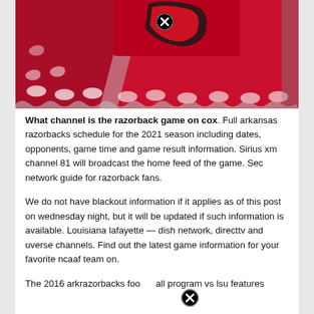[Figure (photo): Red Arkansas Razorbacks branded fabric/bedding with white razorback hog logos, showing the team mascot design in red, black and white on what appears to be a comforter or tablecloth]
What channel is the razorback game on cox. Full arkansas razorbacks schedule for the 2021 season including dates, opponents, game time and game result information. Sirius xm channel 81 will broadcast the home feed of the game. Sec network guide for razorback fans.
We do not have blackout information if it applies as of this post on wednesday night, but it will be updated if such information is available. Louisiana lafayette — dish network, directtv and uverse channels. Find out the latest game information for your favorite ncaaf team on.
The 2016 arkrazorbacks football program vs lsu features